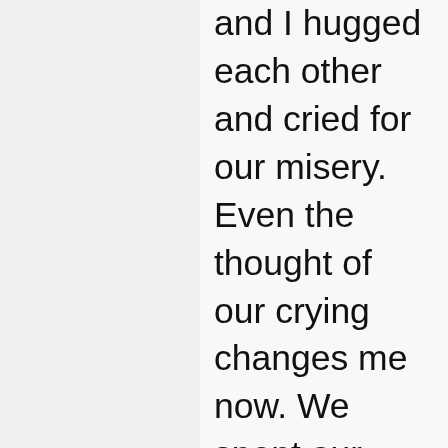and I hugged each other and cried for our misery. Even the thought of our crying changes me now. We spent our childhood in Ayvalik. The sunset was so beautiful in our city that “it was as if fire were burning in the sky again!”
We clasped our hands as we looked to the horizon. That fiery pink-purple-orange sky will be replaced by a deep red-blue dome adorned with stars. While the lights were on, one by one, the evening prayer to the sea and then the voice of my mother calling us for dinner mingled with the fishing boats.
Late summer meant cool but sunny